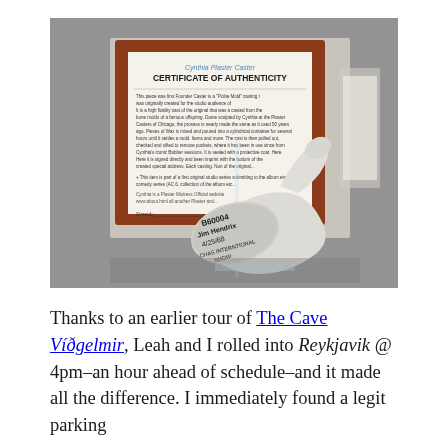[Figure (photo): A museum display case containing a white cast or sculpture of a hand gripping a tool (possibly a hammer or mallet), placed on a clear acrylic stand. The base of the object has handwritten text. Behind it is a framed Certificate of Authenticity with a red-brown wooden frame, showing 'Cynthia Plaster Caster' and 'CERTIFICATE OF AUTHENTICITY' text.]
Thanks to an earlier tour of The Cave Víðgelmir, Leah and I rolled into Reykjavik @ 4pm–an hour ahead of schedule–and it made all the difference. I immediately found a legit parking